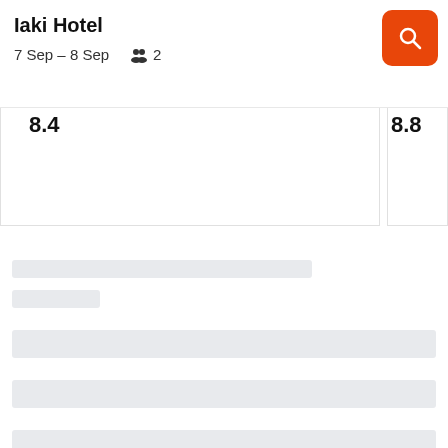Iaki Hotel
7 Sep – 8 Sep   👥 2
[Figure (screenshot): Orange search button with magnifying glass icon in top right corner]
[Figure (screenshot): Partially visible hotel card on left showing score starting with 8.4, and partial card on right showing 8.8 or similar score]
[Figure (screenshot): Loading skeleton UI with multiple gray placeholder bars indicating content loading state]